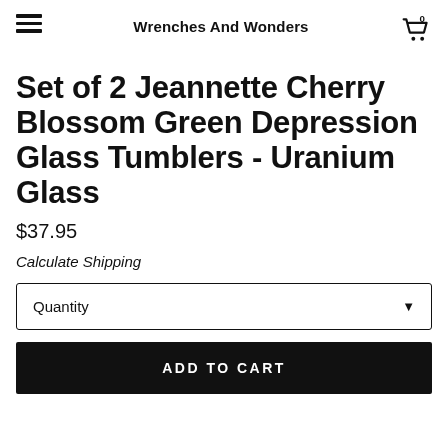Wrenches And Wonders
Set of 2 Jeannette Cherry Blossom Green Depression Glass Tumblers - Uranium Glass
$37.95
Calculate Shipping
Quantity
ADD TO CART